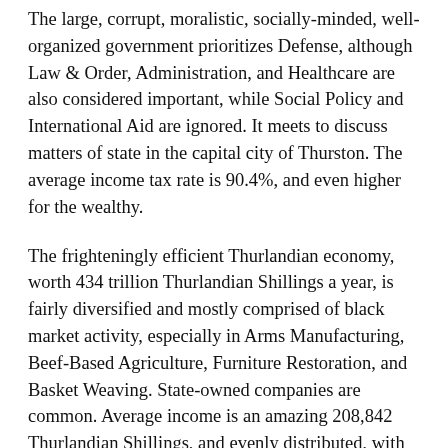The large, corrupt, moralistic, socially-minded, well-organized government prioritizes Defense, although Law & Order, Administration, and Healthcare are also considered important, while Social Policy and International Aid are ignored. It meets to discuss matters of state in the capital city of Thurston. The average income tax rate is 90.4%, and even higher for the wealthy.
The frighteningly efficient Thurlandian economy, worth 434 trillion Thurlandian Shillings a year, is fairly diversified and mostly comprised of black market activity, especially in Arms Manufacturing, Beef-Based Agriculture, Furniture Restoration, and Basket Weaving. State-owned companies are common. Average income is an amazing 208,842 Thurlandian Shillings, and evenly distributed, with the richest citizens earning only 2.8 times as much as the poorest.
The military will start wars with other nations on a lark, jail house rock has been replaced with jail house golden oldies, chain-gangs are often seen toting barges and lifting bales, and